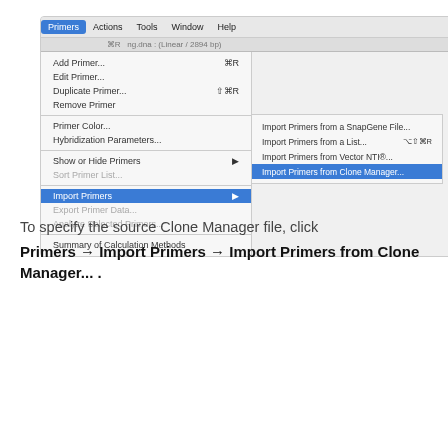[Figure (screenshot): macOS dropdown menu showing Primers menu expanded with 'Import Primers' submenu open, highlighting 'Import Primers from Clone Manager...' option]
To specify the source Clone Manager file, click Primers → Import Primers → Import Primers from Clone Manager... .
[Figure (screenshot): Dialog box titled 'Import Primers from Clone Manager' with a file chooser dropdown showing '< Please choose a .pd4 or .px5 file >' and a Browse... button]